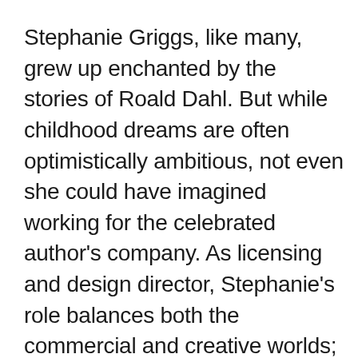Stephanie Griggs, like many, grew up enchanted by the stories of Roald Dahl. But while childhood dreams are often optimistically ambitious, not even she could have imagined working for the celebrated author's company. As licensing and design director, Stephanie's role balances both the commercial and creative worlds; from negotiating contracts and managing in-house style guides to developing new products, and even collaborating with Quentin Blake on